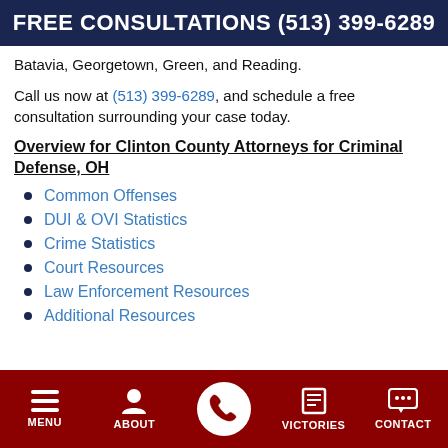FREE CONSULTATIONS (513) 399-6289
Batavia, Georgetown, Green, and Reading.
Call us now at (513) 399-6289, and schedule a free consultation surrounding your case today.
Overview for Clinton County Attorneys for Criminal Defense, OH
Common Offenses
DUI & OVI Statistics
Crime Statistics
Court Resources
Law Enforcement Resources
Additional Resources
MENU   ABOUT   VICTORIES   CONTACT